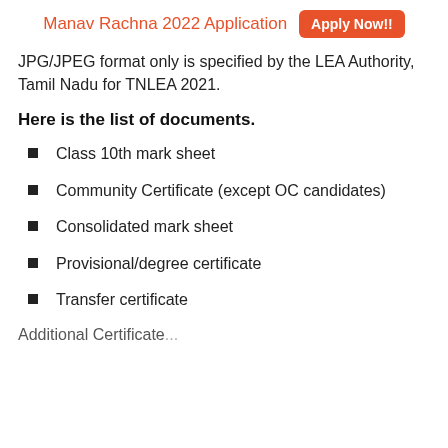Manav Rachna 2022 Application  Apply Now!!
JPG/JPEG format only is specified by the LEA Authority, Tamil Nadu for TNLEA 2021.
Here is the list of documents.
Class 10th mark sheet
Community Certificate (except OC candidates)
Consolidated mark sheet
Provisional/degree certificate
Transfer certificate
Additional Certificate